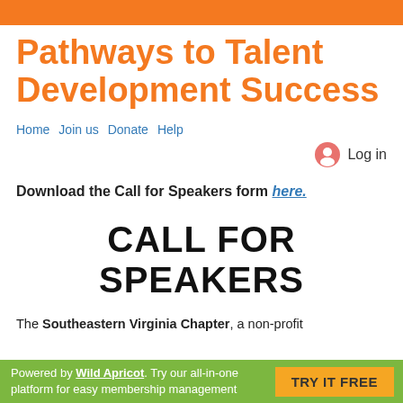Pathways to Talent Development Success
Home  Join us  Donate  Help
Log in
Download the Call for Speakers form here.
CALL FOR SPEAKERS
The Southeastern Virginia Chapter, a non-profit
Powered by Wild Apricot. Try our all-in-one platform for easy membership management  TRY IT FREE